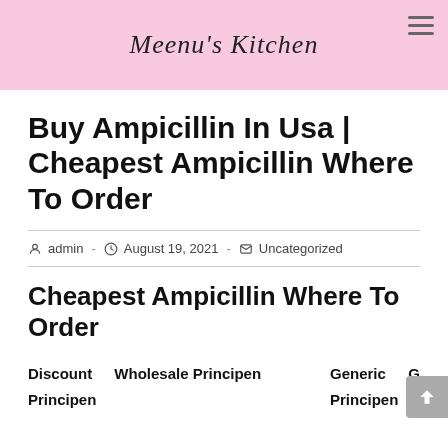Meenu's Kitchen
Buy Ampicillin In Usa | Cheapest Ampicillin Where To Order
admin  -  August 19, 2021  -  Uncategorized
Cheapest Ampicillin Where To Order
Discount Principen   Wholesale Principen   Generic Principen   G...